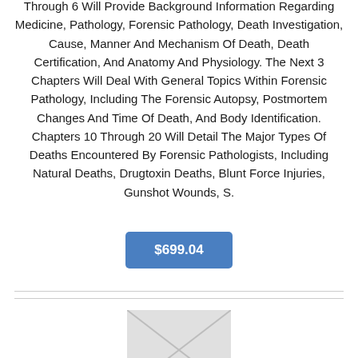Through 6 Will Provide Background Information Regarding Medicine, Pathology, Forensic Pathology, Death Investigation, Cause, Manner And Mechanism Of Death, Death Certification, And Anatomy And Physiology. The Next 3 Chapters Will Deal With General Topics Within Forensic Pathology, Including The Forensic Autopsy, Postmortem Changes And Time Of Death, And Body Identification. Chapters 10 Through 20 Will Detail The Major Types Of Deaths Encountered By Forensic Pathologists, Including Natural Deaths, Drugtoxin Deaths, Blunt Force Injuries, Gunshot Wounds, S.
$699.04
[Figure (photo): Partially visible book or product image at bottom of page]